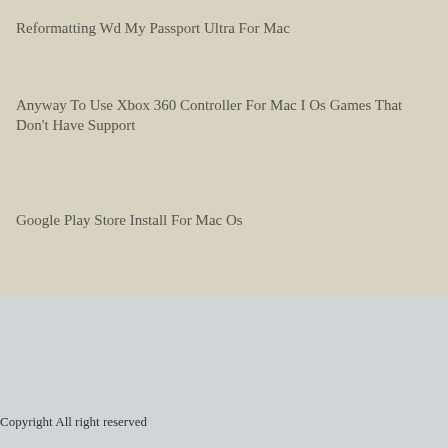Reformatting Wd My Passport Ultra For Mac
Anyway To Use Xbox 360 Controller For Mac I Os Games That Don't Have Support
Google Play Store Install For Mac Os
Copyright All right reserved